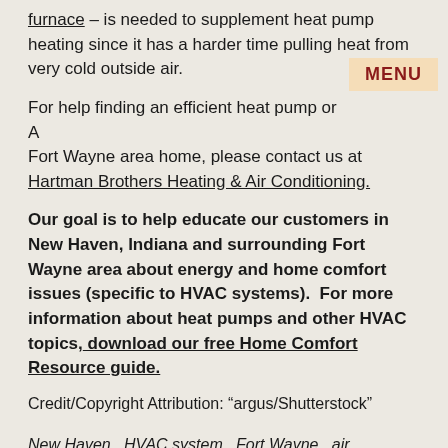furnace – is needed to supplement heat pump heating since it has a harder time pulling heat from very cold outside air.
For help finding an efficient heat pump or A... Fort Wayne area home, please contact us at Hartman Brothers Heating & Air Conditioning.
Our goal is to help educate our customers in New Haven, Indiana and surrounding Fort Wayne area about energy and home comfort issues (specific to HVAC systems).  For more information about heat pumps and other HVAC topics, download our free Home Comfort Resource guide.
Credit/Copyright Attribution: “argus/Shutterstock”
New Haven , HVAC system , Fort Wayne , air conditioner , indiana , A/C , Heat Pump , gas furnace